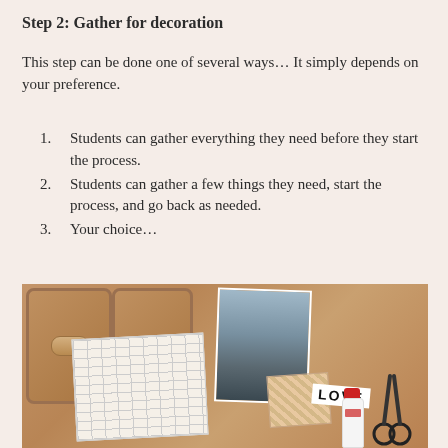Step 2: Gather for decoration
This step can be done one of several ways… It simply depends on your preference.
Students can gather everything they need before they start the process.
Students can gather a few things they need, start the process, and go back as needed.
Your choice…
[Figure (photo): Photo of a school desk surface with craft supplies laid out: a grid paper worksheet, a photo card of a bird, a 'LOVE' decorative strip, floral patterned paper, a bottle of Elmer's glue, and scissors.]